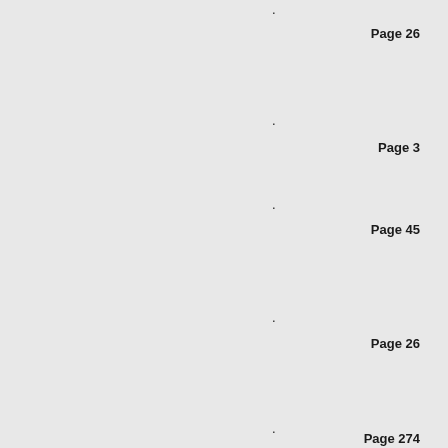.
Page 26
.
Page 3
.
Page 45
.
Page 26
.
Page 274